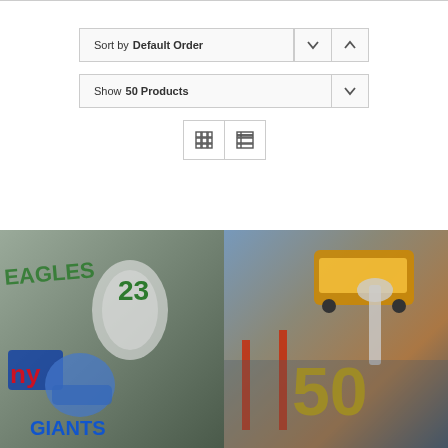Sort by Default Order
Show 50 Products
[Figure (screenshot): View toggle buttons: grid view and list view icons]
[Figure (photo): Sports art illustration showing NFL players including Eagles player #23 and NY Giants player with football helmet; text reads GIANTS]
[Figure (photo): Super Bowl 50 commemorative artwork showing San Francisco Golden Gate Bridge, cable car, Lombardi Trophy, and number 50]